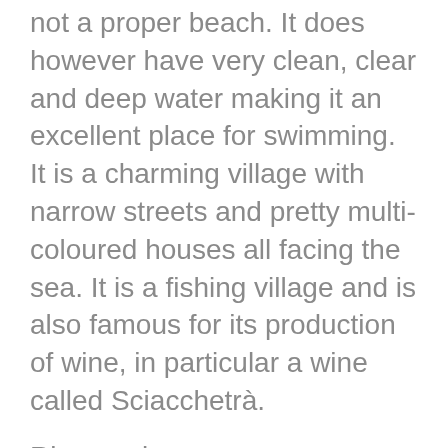not a proper beach. It does however have very clean, clear and deep water making it an excellent place for swimming. It is a charming village with narrow streets and pretty multi-coloured houses all facing the sea. It is a fishing village and is also famous for its production of wine, in particular a wine called Sciacchetrà.
Riomaggiore
The southernmost of the five, Riomaggiore is also the largest and the unofficial headquarters of the Cinque Terre with the office of the National Park being based there.